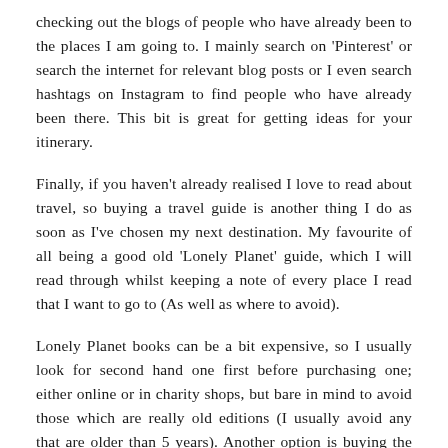checking out the blogs of people who have already been to the places I am going to. I mainly search on 'Pinterest' or search the internet for relevant blog posts or I even search hashtags on Instagram to find people who have already been there. This bit is great for getting ideas for your itinerary.
Finally, if you haven't already realised I love to read about travel, so buying a travel guide is another thing I do as soon as I've chosen my next destination. My favourite of all being a good old 'Lonely Planet' guide, which I will read through whilst keeping a note of every place I read that I want to go to (As well as where to avoid).
Lonely Planet books can be a bit expensive, so I usually look for second hand one first before purchasing one; either online or in charity shops, but bare in mind to avoid those which are really old editions (I usually avoid any that are older than 5 years). Another option is buying the E-Book